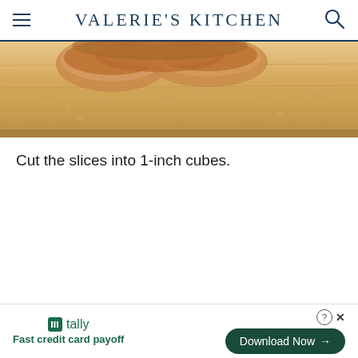VALERIE'S KITCHEN
[Figure (photo): Close-up photo of bread on a wooden cutting board with crumbs scattered around]
Cut the slices into 1-inch cubes.
[Figure (infographic): Advertisement banner for Tally app with 'Fast credit card payoff' tagline and 'Download Now' button]